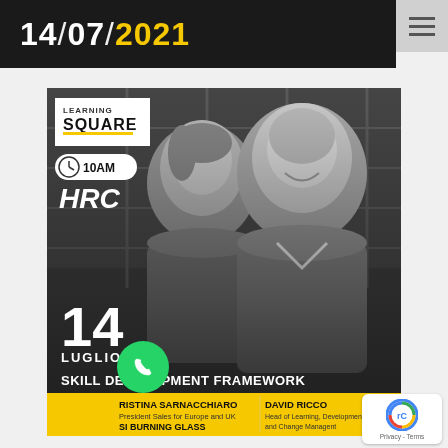14/07/2021
[Figure (photo): Event promotional card for Learning Square HRC webinar on 14 Luglio (July) at 10AM. Features black and white photo of two speakers - Cristina Sarnacchiaro and David Ricco. Topic: Skill Development Framework.]
CRISTINA SARNACCHIARO
President Sales for Europe and UK
SI BURNING GLASS
DAVID RICCO
Head of Learning, Development and Change Managent
CASSA DEPOSITI E PRESTITI